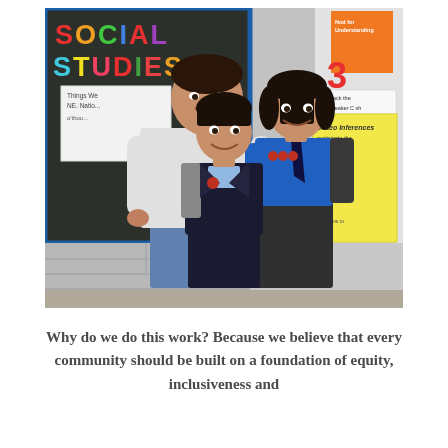[Figure (photo): A man (adult, presumably a parent or community member) standing behind two school children in a classroom. On the left background is a blackboard with colorful 'SOCIAL STUDIES' letters. On the right is a yellow notepad with handwritten text. The boy is wearing a dark school blazer and the girl is in a blue school uniform with a dark tie and skirt.]
Why do we do this work? Because we believe that every community should be built on a foundation of equity, inclusiveness and